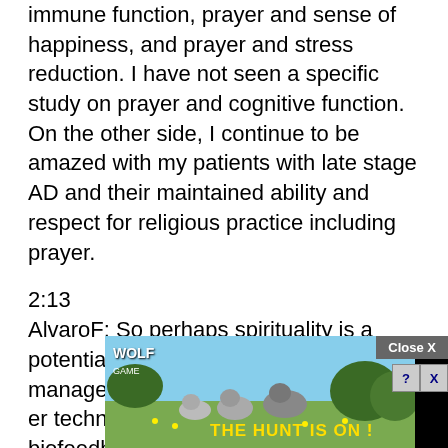immune function, prayer and sense of happiness, and prayer and stress reduction. I have not seen a specific study on prayer and cognitive function. On the other side, I continue to be amazed with my patients with late stage AD and their maintained ability and respect for religious practice including prayer.
2:13
AlvaroF: So perhaps spirituality is a potential avenue towards stress management and optimism. Would other techniques from cognitive therapy to biofeedback be complementary? How do people navigate different options?
2:13
Dr. Nussbaum: Thanks Mark and interesting... believe the w... n of the le...
[Figure (other): Advertisement overlay: Wolf Game ad with wolves image, 'THE HUNT IS ON!' text in yellow, Close X button, and help/close icons]